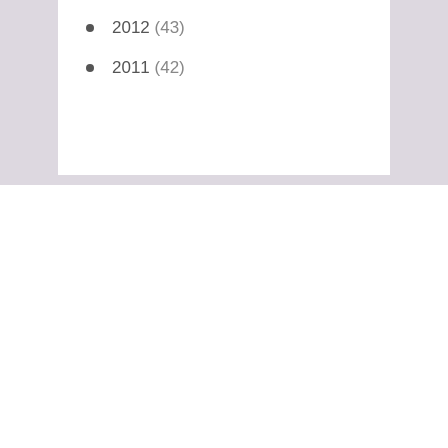2012 (43)
2011 (42)
[Figure (screenshot): Select Category dropdown UI element with chevron arrow]
[Figure (screenshot): Select Month dropdown UI element with chevron arrow]